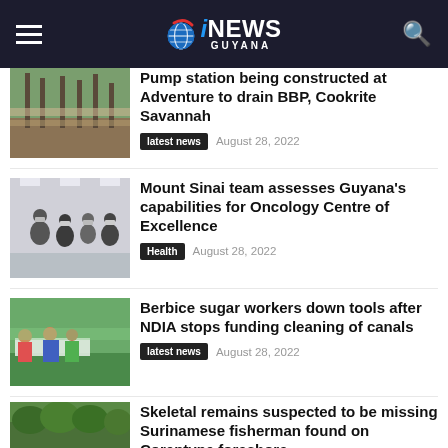iNEWS GUYANA
Pump station being constructed at Adventure to drain BBP, Cookrite Savannah
latest news   August 28, 2022
Mount Sinai team assesses Guyana's capabilities for Oncology Centre of Excellence
Health   August 28, 2022
Berbice sugar workers down tools after NDIA stops funding cleaning of canals
latest news   August 28, 2022
Skeletal remains suspected to be missing Surinamese fisherman found on Corentyne foreshore